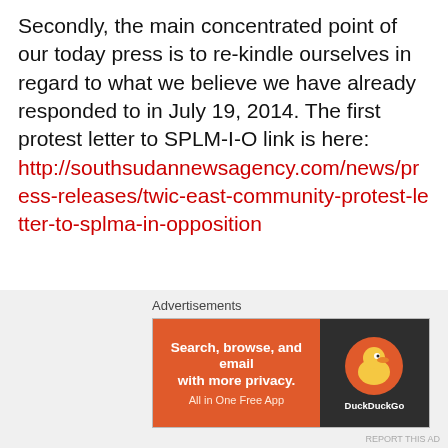Secondly, the main concentrated point of our today press is to re-kindle ourselves in regard to what we believe we have already responded to in July 19, 2014. The first protest letter to SPLM-I-O link is here: http://southsudannewsagency.com/news/press-releases/twic-east-community-protest-letter-to-splma-in-opposition
What positive thing we got from the SPLM-I-O in regard to our first protest letter about their 21 States formation that did suggest, the Twic East, Duk and Bor Counties should be under their new State suggested “Bor State”. Well, within short period later after they [SPLM-I-O] heard over voices through that protest letter. Immediately, the SPLM-I-O
Advertisements
[Figure (infographic): DuckDuckGo advertisement banner: orange left panel with text 'Search, browse, and email with more privacy. All in One Free App', dark right panel with DuckDuckGo duck logo circle.]